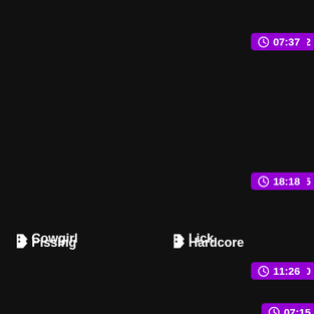09:22
07:37
Cowgirl
Lick
07:15
18:18
Pissing
Hardcore
06:40
11:26